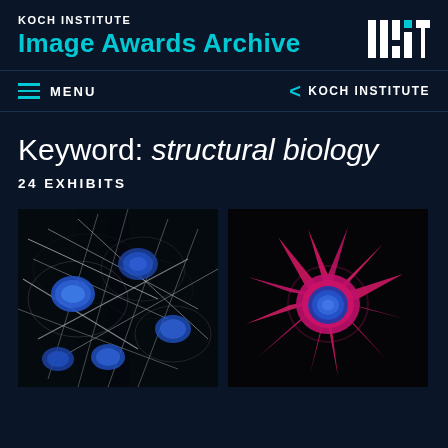KOCH INSTITUTE Image Awards Archive
MENU
KOCH INSTITUTE
Keyword: structural biology
24 EXHIBITS
[Figure (photo): Fluorescence microscopy image showing multiple cells with blue-stained nuclei and white/silver actin filaments against a black background]
[Figure (photo): Fluorescence microscopy image of a single cell with a blue nucleus and bright pink/magenta spiky protrusions against a black background]